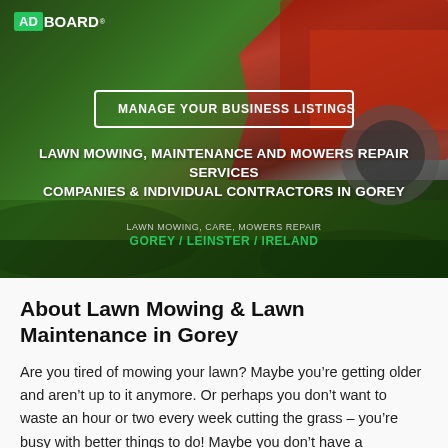[Figure (photo): Hero banner image showing a red lawn mower machine on green grass background with dark overlay]
ADBOARD
MANAGE YOUR BUSINESS LISTINGS
LAWN MOWING, MAINTENANCE AND MOWERS REPAIR SERVICES
COMPANIES & INDIVIDUAL CONTRACTORS IN GOREY
LAWN MOWING, CARE, MOWERS REPAIR
GOREY / LEINSTER / IRELAND
About Lawn Mowing & Lawn Maintenance in Gorey
Are you tired of mowing your lawn? Maybe you’re getting older and aren’t up to it anymore. Or perhaps you don’t want to waste an hour or two every week cutting the grass – you’re busy with better things to do! Maybe you don’t have a lawnmower, and don’t want to spend the money buying one? Whatever the case, there is a solution: professional lawn